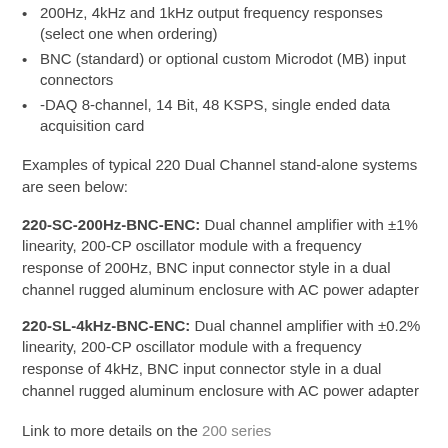200Hz, 4kHz and 1kHz output frequency responses (select one when ordering)
BNC (standard) or optional custom Microdot (MB) input connectors
-DAQ 8-channel, 14 Bit, 48 KSPS, single ended data acquisition card
Examples of typical 220 Dual Channel stand-alone systems are seen below:
220-SC-200Hz-BNC-ENC: Dual channel amplifier with ±1% linearity, 200-CP oscillator module with a frequency response of 200Hz, BNC input connector style in a dual channel rugged aluminum enclosure with AC power adapter
220-SL-4kHz-BNC-ENC: Dual channel amplifier with ±0.2% linearity, 200-CP oscillator module with a frequency response of 4kHz, BNC input connector style in a dual channel rugged aluminum enclosure with AC power adapter
Link to more details on the 200 series
Model 520 Dual Channel Stand Alone Enclosures